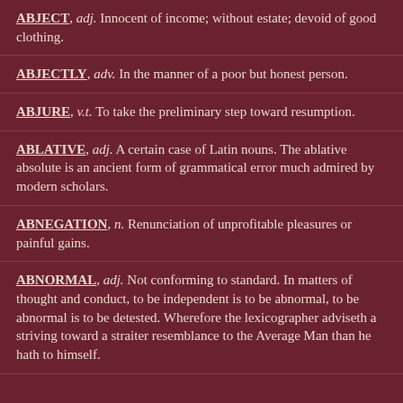ABJECT, adj. Innocent of income; without estate; devoid of good clothing.
ABJECTLY, adv. In the manner of a poor but honest person.
ABJURE, v.t. To take the preliminary step toward resumption.
ABLATIVE, adj. A certain case of Latin nouns. The ablative absolute is an ancient form of grammatical error much admired by modern scholars.
ABNEGATION, n. Renunciation of unprofitable pleasures or painful gains.
ABNORMAL, adj. Not conforming to standard. In matters of thought and conduct, to be independent is to be abnormal, to be abnormal is to be detested. Wherefore the lexicographer adviseth a striving toward a straiter resemblance to the Average Man than he hath to himself.